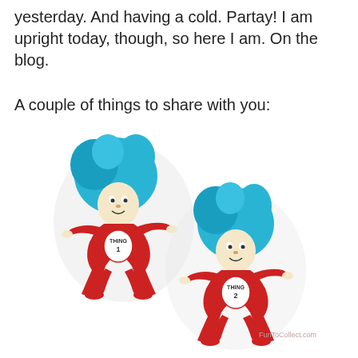yesterday. And having a cold. Partay! I am upright today, though, so here I am. On the blog.
A couple of things to share with you:
[Figure (illustration): Dr. Seuss Thing 1 and Thing 2 characters with blue hair, red jumpsuits, running and reaching out. Watermark: FunToCollect.com]
FunToCollect.com